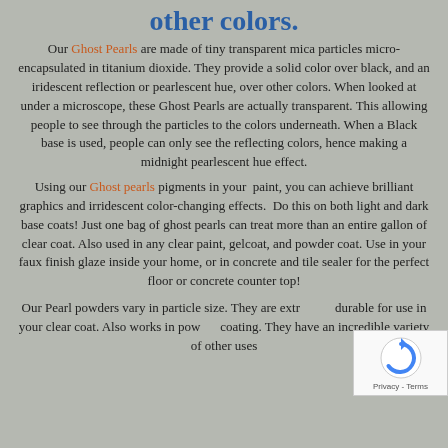other colors.
Our Ghost Pearls are made of tiny transparent mica particles micro-encapsulated in titanium dioxide. They provide a solid color over black, and an iridescent reflection or pearlescent hue, over other colors. When looked at under a microscope, these Ghost Pearls are actually transparent. This allowing people to see through the particles to the colors underneath. When a Black base is used, people can only see the reflecting colors, hence making a midnight pearlescent hue effect.
Using our Ghost pearls pigments in your paint, you can achieve brilliant graphics and irridescent color-changing effects. Do this on both light and dark base coats! Just one bag of ghost pearls can treat more than an entire gallon of clear coat. Also used in any clear paint, gelcoat, and powder coat. Use in your faux finish glaze inside your home, or in concrete and tile sealer for the perfect floor or concrete counter top!
Our Pearl powders vary in particle size. They are extr... durable for use in your clear coat. Also works in pow... coating. They have an incredible variety of other uses...
[Figure (logo): reCAPTCHA badge with spinning arrow icon and Privacy - Terms label]